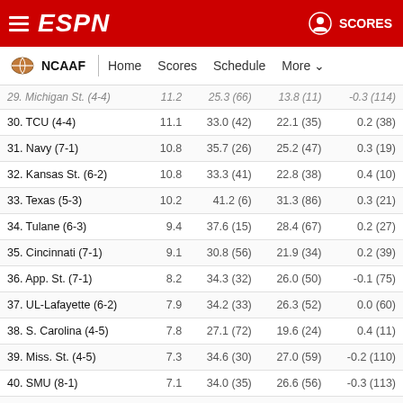ESPN NCAAF - Home Scores Schedule More - Rankings
| Team |  | Off | Def | SOS |
| --- | --- | --- | --- | --- |
| 29. Michigan St. (4-4) | 11.2 | 25.3 (66) | 13.8 (11) | -0.3 (114) |
| 30. TCU (4-4) | 11.1 | 33.0 (42) | 22.1 (35) | 0.2 (38) |
| 31. Navy (7-1) | 10.8 | 35.7 (26) | 25.2 (47) | 0.3 (19) |
| 32. Kansas St. (6-2) | 10.8 | 33.3 (41) | 22.8 (38) | 0.4 (10) |
| 33. Texas (5-3) | 10.2 | 41.2 (6) | 31.3 (86) | 0.3 (21) |
| 34. Tulane (6-3) | 9.4 | 37.6 (15) | 28.4 (67) | 0.2 (27) |
| 35. Cincinnati (7-1) | 9.1 | 30.8 (56) | 21.9 (34) | 0.2 (39) |
| 36. App. St. (7-1) | 8.2 | 34.3 (32) | 26.0 (50) | -0.1 (75) |
| 37. UL-Lafayette (6-2) | 7.9 | 34.2 (33) | 26.3 (52) | 0.0 (60) |
| 38. S. Carolina (4-5) | 7.8 | 27.1 (72) | 19.6 (24) | 0.4 (11) |
| 39. Miss. St. (4-5) | 7.3 | 34.6 (30) | 27.0 (59) | -0.2 (110) |
| 40. SMU (8-1) | 7.1 | 34.0 (35) | 26.6 (56) | -0.3 (113) |
| 41. Air Force (7-2) | 6.8 | 34.9 (28) | 28.5 (68) | 0.4 (9) |